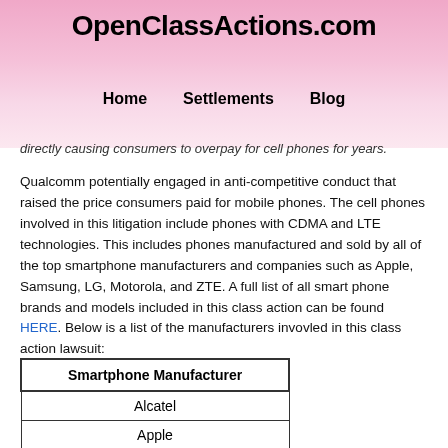OpenClassActions.com
Home   Settlements   Blog
directly causing consumers to overpay for cell phones for years.
Qualcomm potentially engaged in anti-competitive conduct that raised the price consumers paid for mobile phones. The cell phones involved in this litigation include phones with CDMA and LTE technologies. This includes phones manufactured and sold by all of the top smartphone manufacturers and companies such as Apple, Samsung, LG, Motorola, and ZTE. A full list of all smart phone brands and models included in this class action can be found HERE. Below is a list of the manufacturers invovled in this class action lawsuit:
| Smartphone Manufacturer |
| --- |
| Alcatel |
| Apple |
| BlackBerry |